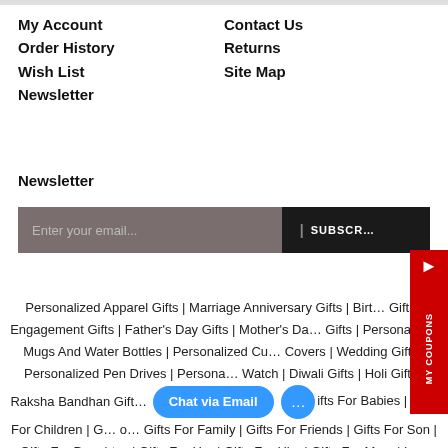My Account
Order History
Wish List
Newsletter
Contact Us
Returns
Site Map
Newsletter
Enter your email...
| SUBSCRIBE
Personalized Apparel Gifts | Marriage Anniversary Gifts | Birthday Gifts | Engagement Gifts | Father's Day Gifts | Mother's Day Gifts | Personalized Mugs And Water Bottles | Personalized Cushion Covers | Wedding Gifts | Personalized Pen Drives | Personalized Watch | Diwali Gifts | Holi Gifts | Raksha Bandhan Gifts | Gifts For Babies | Gifts For Children | Gifts For Good Friends | Gifts For Family | Gifts For Friends | Gifts For Son | Gifts For Daughter | Gifts For Her | Gifts For Him | Gifts For Mom | Low Cost Gifts | Professional